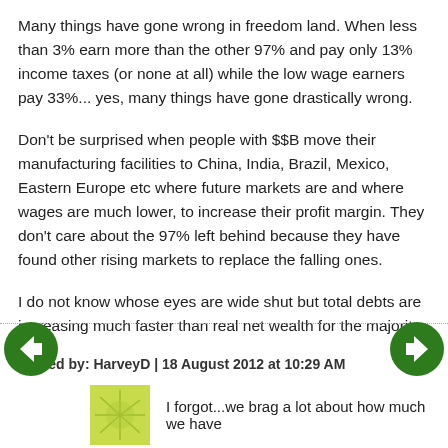Many things have gone wrong in freedom land. When less than 3% earn more than the other 97% and pay only 13% income taxes (or none at all) while the low wage earners pay 33%... yes, many things have gone drastically wrong.
Don't be surprised when people with $$B move their manufacturing facilities to China, India, Brazil, Mexico, Eastern Europe etc where future markets are and where wages are much lower, to increase their profit margin. They don't care about the 97% left behind because they have found other rising markets to replace the falling ones.
I do not know whose eyes are wide shut but total debts are increasing much faster than real net wealth for the majority.
Posted by: HarveyD | 18 August 2012 at 10:29 AM
I forgot...we brag a lot about how much we have